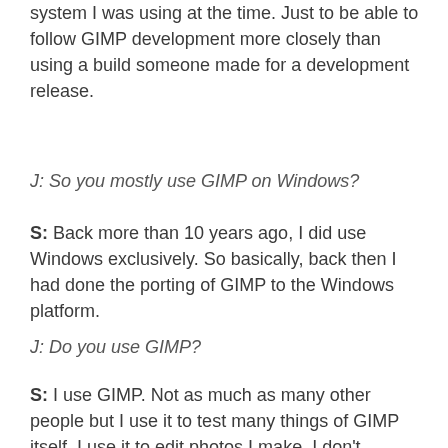system I was using at the time. Just to be able to follow GIMP development more closely than using a build someone made for a development release.
J: So you mostly use GIMP on Windows?
S: Back more than 10 years ago, I did use Windows exclusively. So basically, back then I had done the porting of GIMP to the Windows platform.
J: Do you use GIMP?
S: I use GIMP. Not as much as many other people but I use it to test many things of GIMP itself. I use it to edit photos I make. I don't publish many of the images because when I'm editing them, I print them or I use them for some documentation work, so it goes to a customer. I even still use it on MS Windows, but now my main platform is Linux.